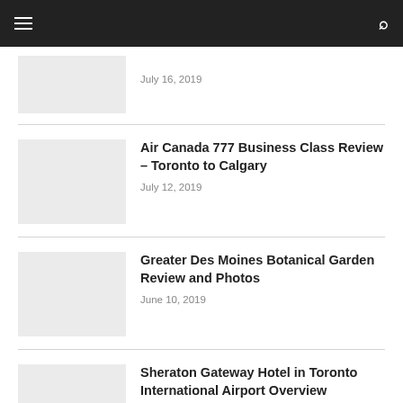Navigation bar with menu and search icons
July 16, 2019
Air Canada 777 Business Class Review – Toronto to Calgary
July 12, 2019
Greater Des Moines Botanical Garden Review and Photos
June 10, 2019
Sheraton Gateway Hotel in Toronto International Airport Overview
May 30, 2019